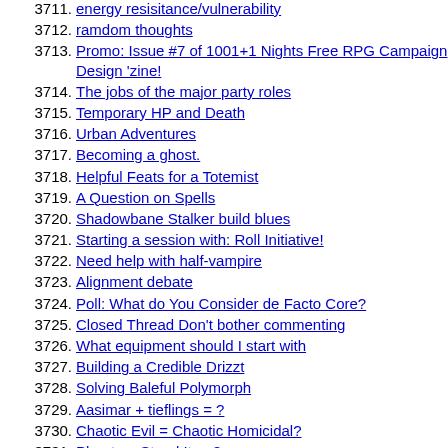3711. energy resisitance/vulnerability
3712. ramdom thoughts
3713. Promo: Issue #7 of 1001+1 Nights Free RPG Campaign Design 'zine!
3714. The jobs of the major party roles
3715. Temporary HP and Death
3716. Urban Adventures
3717. Becoming a ghost.
3718. Helpful Feats for a Totemist
3719. A Question on Spells
3720. Shadowbane Stalker build blues
3721. Starting a session with: Roll Initiative!
3722. Need help with half-vampire
3723. Alignment debate
3724. Poll: What do You Consider de Facto Core?
3725. Closed Thread Don't bother commenting
3726. What equipment should I start with
3727. Building a Credible Drizzt
3728. Solving Baleful Polymorph
3729. Aasimar + tieflings = ?
3730. Chaotic Evil = Chaotic Homicidal?
3731. Phantom Steed Item?
3732. The Dream Domain? (also, info on Wastri)
3733. Question About Damage Reduction (Its been answered)
3734. GenCon Dungeon Crawl
3735. Massive Damage 'n Temp HP
3736. Analysing Aragorn
3737. whaaat?!?! (alignment thread)
3738. Cleric Feat Selection
3739. ...